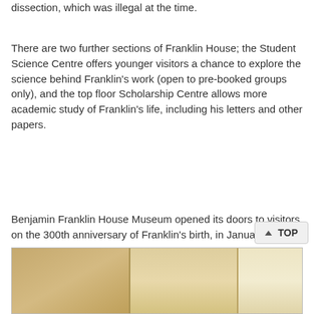dissection, which was illegal at the time.
There are two further sections of Franklin House; the Student Science Centre offers younger visitors a chance to explore the science behind Franklin's work (open to pre-booked groups only), and the top floor Scholarship Centre allows more academic study of Franklin's life, including his letters and other papers.
Benjamin Franklin House Museum opened its doors to visitors on the 300th anniversary of Franklin's birth, in January 2006.
[Figure (photo): Partial view of a room or exhibit inside Benjamin Franklin House, showing light wood panels and architectural details.]